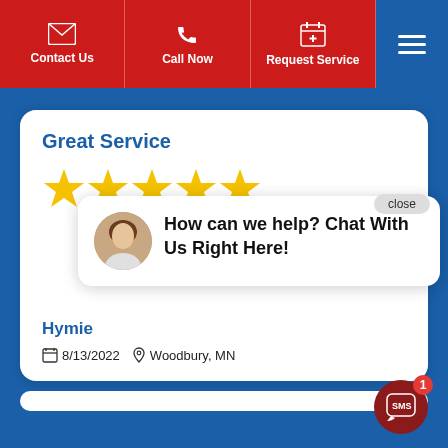Contact Us | Call Now | Request Service
Great Service
[Figure (other): Five gold star rating]
[Figure (other): Chat popup with avatar: How can we help? Chat With Us Right Here!]
Hymie
8/13/2022  Woodbury, MN